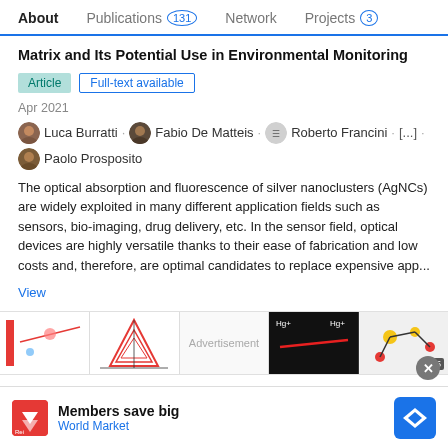About   Publications 131   Network   Projects 3
Matrix and Its Potential Use in Environmental Monitoring
Article   Full-text available
Apr 2021
Luca Burratti · Fabio De Matteis · Roberto Francini · [...] · Paolo Prosposito
The optical absorption and fluorescence of silver nanoclusters (AgNCs) are widely exploited in many different application fields such as sensors, bio-imaging, drug delivery, etc. In the sensor field, optical devices are highly versatile thanks to their ease of fabrication and low costs and, therefore, are optimal candidates to replace expensive app...
View
[Figure (screenshot): Row of publication thumbnail images and an advertisement placeholder]
Members save big   World Market